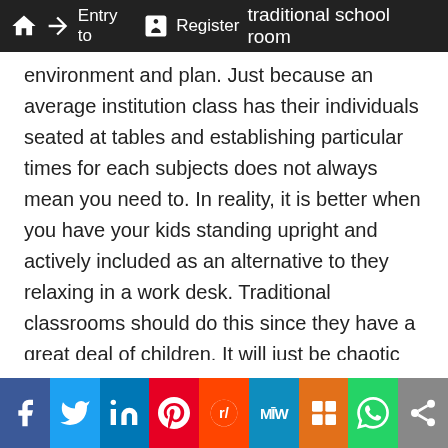Entry to Register traditional school room
environment and plan. Just because an average institution class has their individuals seated at tables and establishing particular times for each subjects does not always mean you need to. In reality, it is better when you have your kids standing upright and actively included as an alternative to they relaxing in a work desk. Traditional classrooms should do this since they have a great deal of children. It will just be chaotic for educators to obtain almost all their students standing upright when teaching. Use the approach that works well with you and your child.
Simply because your youngster is being property schooled does not necessarily mean you should be too easygoing about them. Make certain they are not